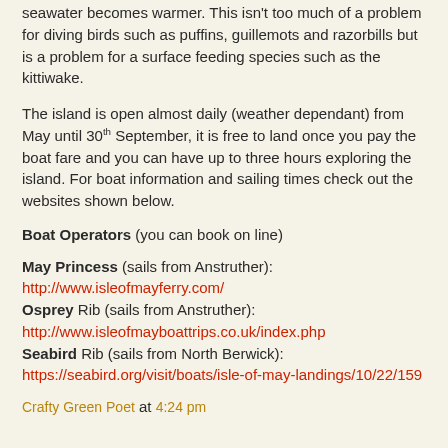seawater becomes warmer. This isn't too much of a problem for diving birds such as puffins, guillemots and razorbills but is a problem for a surface feeding species such as the kittiwake.
The island is open almost daily (weather dependant) from May until 30th September, it is free to land once you pay the boat fare and you can have up to three hours exploring the island. For boat information and sailing times check out the websites shown below.
Boat Operators (you can book on line)
May Princess (sails from Anstruther):
http://www.isleofmayferry.com/
Osprey Rib (sails from Anstruther):
http://www.isleofmayboattrips.co.uk/index.php
Seabird Rib (sails from North Berwick):
https://seabird.org/visit/boats/isle-of-may-landings/10/22/159
Crafty Green Poet at 4:24 pm